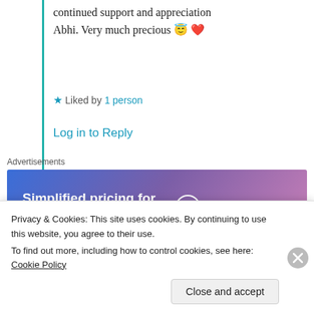continued support and appreciation
Abhi. Very much precious 😇❤️
★ Liked by 1 person
Log in to Reply
Advertisements
[Figure (other): WordPress.com advertisement banner: 'Simplified pricing for everything you need.' with WordPress logo]
REPORT THIS AD
therealme331
Privacy & Cookies: This site uses cookies. By continuing to use this website, you agree to their use.
To find out more, including how to control cookies, see here: Cookie Policy
Close and accept